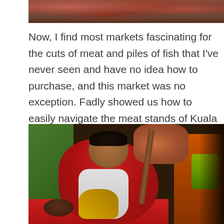[Figure (photo): Top portion of a market photo showing raw meat cuts displayed on a table or counter, cropped at the top of the page.]
Now, I find most markets fascinating for the cuts of meat and piles of fish that I've never seen and have no idea how to purchase, and this market was no exception. Fadly showed us how to easily navigate the meat stands of Kuala Lumpur.
[Figure (photo): A man in a red shirt and white apron working at a meat stand in a Kuala Lumpur market, with hanging meats, yellow corn/straw items, a green basket, and colorful market stall elements visible.]